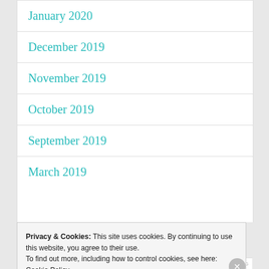January 2020
December 2019
November 2019
October 2019
September 2019
March 2019
Privacy & Cookies: This site uses cookies. By continuing to use this website, you agree to their use.
To find out more, including how to control cookies, see here: Cookie Policy
AIRPORT-1102.AG